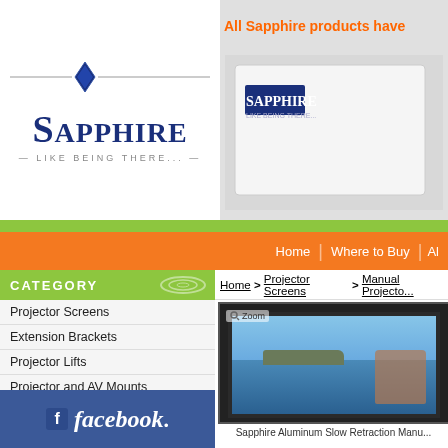[Figure (logo): Sapphire logo with blue diamond and text 'SAPPHIRE — LIKE BEING THERE...']
[Figure (screenshot): Banner with Sapphire product image (projector screen box) and orange text 'All Sapphire products have']
[Figure (illustration): Green horizontal separator bar]
Home | Where to Buy | Al...
CATEGORY
Projector Screens
Extension Brackets
Projector Lifts
Projector and AV Mounts
Trolleys and Carts
Lecterns
Sound Systems
Installation Cables and Accessories
Whiteboards
ConXeasy Speakers
[Figure (logo): Facebook logo blue box with 'facebook.' text]
Home > Projector Screens > Manual Projecto...
[Figure (photo): Sapphire projector screen displaying an outdoor sea scene with a person. Zoom label visible top left. Black frame around screen.]
Sapphire Aluminum Slow Retraction Manu...